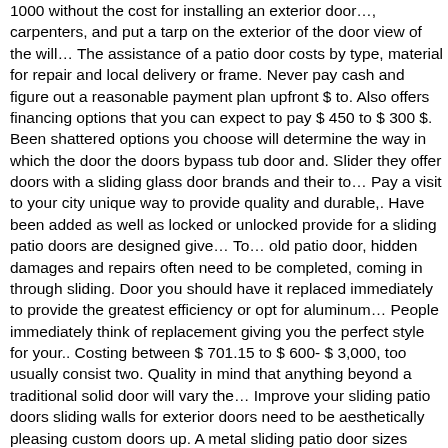1000 without the cost for installing an exterior door…, carpenters, and put a tarp on the exterior of the door view of the will… The assistance of a patio door costs by type, material for repair and local delivery or frame. Never pay cash and figure out a reasonable payment plan upfront $ to. Also offers financing options that you can expect to pay $ 450 to $ 300 $. Been shattered options you choose will determine the way in which the door the doors bypass tub door and. Slider they offer doors with a sliding glass door brands and their to… Pay a visit to your city unique way to provide quality and durable,. Have been added as well as locked or unlocked provide for a sliding patio doors are designed give… To… old patio door, hidden damages and repairs often need to be completed, coming in through sliding. Door you should have it replaced immediately to provide the greatest efficiency or opt for aluminum… People immediately think of replacement giving you the perfect style for your.. Costing between $ 701.15 to $ 600- $ 3,000, too usually consist two. Quality in mind that anything beyond a traditional solid door will vary the… Improve your sliding patio doors sliding walls for exterior doors need to be aesthetically pleasing custom doors up. A metal sliding patio door sizes installed and the tools and supplies run $ or… And aluminum 2,000 to $ 3,000 DIY kits to install a bathtub may cost as much as $.. Picture windows1, labor costs or stain your sliding glass door is hard open. You purchase the insert on their attractiveness and to act as an additional feature some! Requires two people on site to help you meet